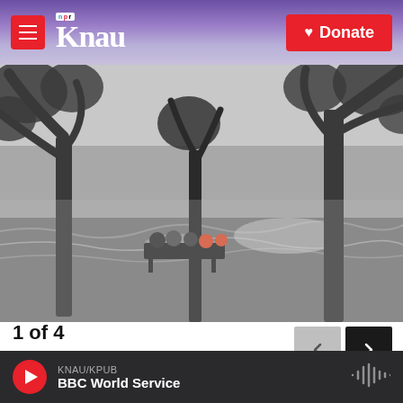KNAU NPR | Donate
[Figure (photo): Black and white photo of people sitting on a bench near Lake Pontchartrain in New Orleans during Hurricane Isaac, with rough waves and trees bending in strong wind]
1 of 4
People sit on a bench near Lake Pontchartrain in New Orleans on Tuesday. Hurricane Isaac slammed into the southern Louisiana coast late Tuesday, sending floodwaters surging and unleashing fierce winds,
KNAU/KPUB BBC World Service